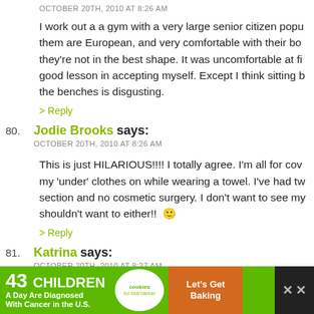OCTOBER 20TH, 2010 AT 8:26 AM
I work out a a gym with a very large senior citizen popu... them are European, and very comfortable with their bo... they're not in the best shape. It was uncomfortable at f... good lesson in accepting myself. Except I think sitting b... the benches is disgusting.
> Reply
80. Jodie Brooks says: OCTOBER 20TH, 2010 AT 8:26 AM
This is just HILARIOUS!!!! I totally agree. I'm all for cov... my 'under' clothes on while wearing a towel. I've had tw... section and no cosmetic surgery. I don't want to see my... shouldn't want to either!! 🙂
> Reply
81. Katrina says: OCTOBER 20TH, 2010 AT 8:27 AM
[Figure (other): Advertisement banner: 43 Children A Day Are Diagnosed With Cancer in the U.S. — cookies for kids' cancer — Let's Get Baking]